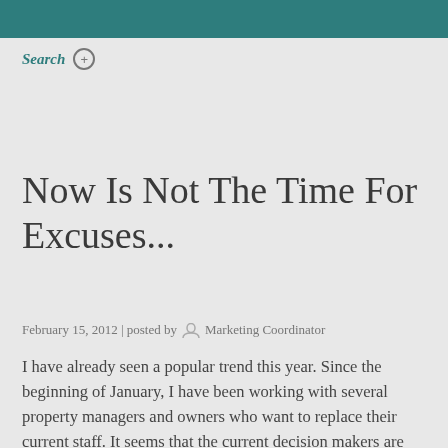Search +
Now Is Not The Time For Excuses...
February 15, 2012 | posted by  Marketing Coordinator
I have already seen a popular trend this year.  Since the beginning of January, I have been working with several property managers and owners who want to replace their current staff.  It seems that the current decision makers are standing firm on performance and if its not there, they replace them.  Owners want properties that